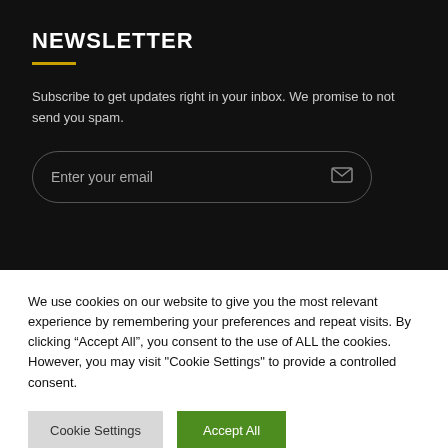NEWSLETTER
Subscribe to get updates right in your inbox. We promise to not send you spam.
Enter your email
We use cookies on our website to give you the most relevant experience by remembering your preferences and repeat visits. By clicking “Accept All”, you consent to the use of ALL the cookies. However, you may visit "Cookie Settings" to provide a controlled consent.
Cookie Settings
Accept All